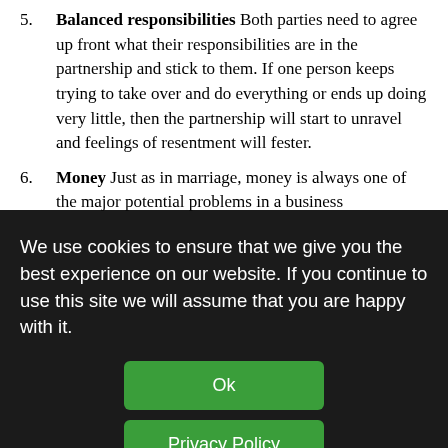5. Balanced responsibilities Both parties need to agree up front what their responsibilities are in the partnership and stick to them. If one person keeps trying to take over and do everything or ends up doing very little, then the partnership will start to unravel and feelings of resentment will fester.
6. Money Just as in marriage, money is always one of the major potential problems in a business...
We use cookies to ensure that we give you the best experience on our website. If you continue to use this site we will assume that you are happy with it.
Ok
Privacy Policy